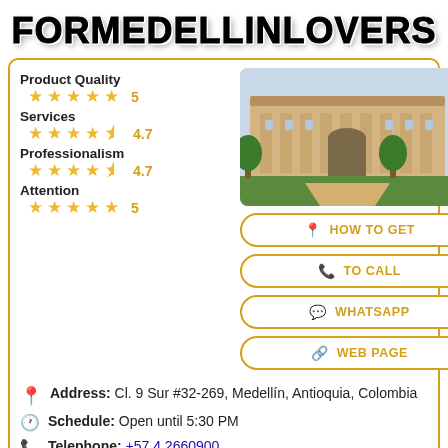FORMEDELLINLOVERS
Product Quality
★★★★★ 5
Services
★★★★½ 4.7
[Figure (photo): Exterior view of an ornate building with gardens and a paved path]
Professionalism
★★★★½ 4.7
Attention
★★★★★ 5
HOW TO GET
TO CALL
WHATSAPP
WEB PAGE
Address: Cl. 9 Sur #32-269, Medellín, Antioquia, Colombia
Schedule: Open until 5:30 PM
Telephone: +57 4 2660900